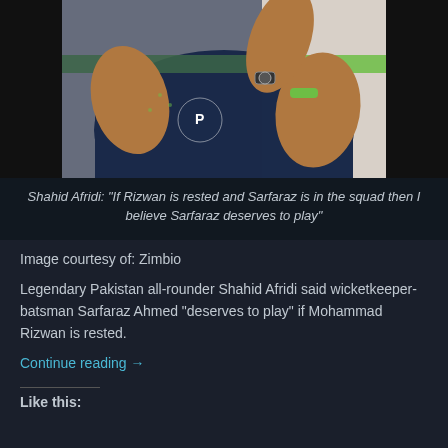[Figure (photo): Cricket player in dark blue and green jersey with Pepsi logo and watch, posing with fist raised]
Shahid Afridi: "If Rizwan is rested and Sarfaraz is in the squad then I believe Sarfaraz deserves to play"
Image courtesy of: Zimbio
Legendary Pakistan all-rounder Shahid Afridi said wicketkeeper-batsman Sarfaraz Ahmed “deserves to play” if Mohammad Rizwan is rested.
Continue reading →
Like this: